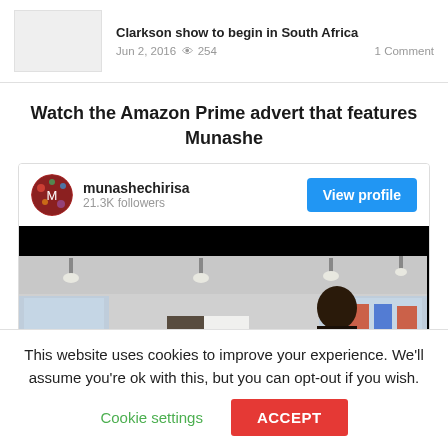[Figure (screenshot): Article thumbnail - light gray placeholder image]
Clarkson show to begin in South Africa
Jun 2, 2016  👁 254   1 Comment
Watch the Amazon Prime advert that features Munashe
[Figure (screenshot): Embedded social media post from munashechirisa with 21.3K followers, View profile button, and video frame showing a person in a store]
This website uses cookies to improve your experience. We'll assume you're ok with this, but you can opt-out if you wish.
Cookie settings   ACCEPT